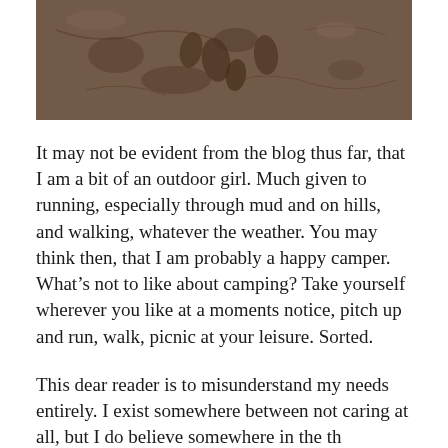[Figure (photo): Close-up photograph of muddy ground showing footprints and indentations in wet brown mud/sand.]
It may not be evident from the blog thus far, that I am a bit of an outdoor girl. Much given to running, especially through mud and on hills, and walking, whatever the weather. You may think then, that I am probably a happy camper. What’s not to like about camping? Take yourself wherever you like at a moments notice, pitch up and run, walk, picnic at your leisure. Sorted.
This dear reader is to misunderstand my needs entirely. I exist somewhere between not caring at all, but I do believe somewhere in the th...